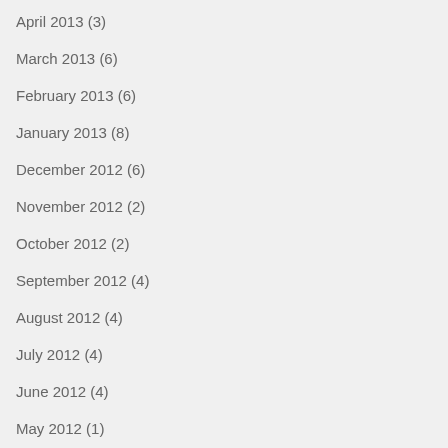April 2013 (3)
March 2013 (6)
February 2013 (6)
January 2013 (8)
December 2012 (6)
November 2012 (2)
October 2012 (2)
September 2012 (4)
August 2012 (4)
July 2012 (4)
June 2012 (4)
May 2012 (1)
April 2012 (2)
March 2012 (3)